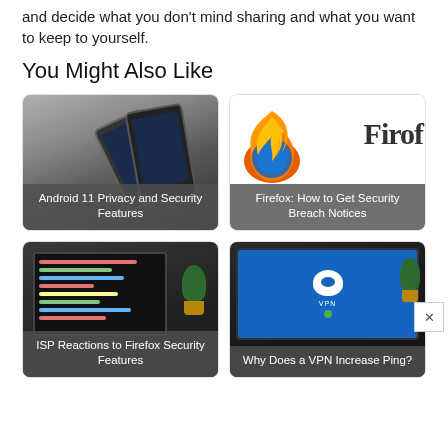and decide what you don't mind sharing and what you want to keep to yourself.
You Might Also Like
[Figure (photo): Card with two smartphone silhouettes on dark background with overlay text: Android 11 Privacy and Security Features]
[Figure (photo): Card with Firefox flame logo and partial text 'Firof' on white background with overlay text: Firefox: How to Get Security Breach Notices]
[Figure (photo): Card with laptop showing code editor, plant in background, with overlay text: ISP Reactions to Firefox Security Features]
[Figure (photo): Card with laptop showing VPN screen with NordVPN-style shield logo, with overlay text: Why Does a VPN Increase Ping?]